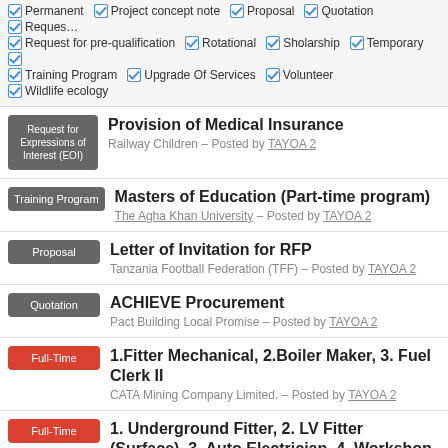Permanent, Project concept note, Proposal, Quotation, Request, Request for pre-qualification, Rotational, Sholarship, Temporary, Training Program, Upgrade Of Services, Volunteer, Wildlife ecology
Provision of Medical Insurance – Railway Children – Posted by TAYOA 2 [Request for Expressions of Interest (EOI)]
Masters of Education (Part-time program) – The Agha Khan University – Posted by TAYOA 2 [Training Program]
Letter of Invitation for RFP – Tanzania Football Federation (TFF) – Posted by TAYOA 2 [Proposal]
ACHIEVE Procurement – Pact Building Local Promise – Posted by TAYOA 2 [Quotation]
1.Fitter Mechanical, 2.Boiler Maker, 3. Fuel Clerk II – CATA Mining Company Limited. – Posted by TAYOA 2 [Full-Time]
1. Underground Fitter, 2. LV Fitter (Surface), 3. Auto Electrician, 4. Workshop Training Assistant [Full-Time]